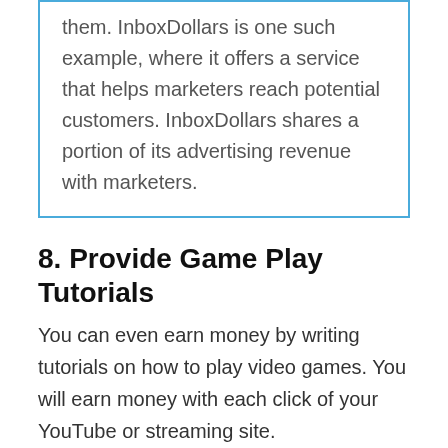them. InboxDollars is one such example, where it offers a service that helps marketers reach potential customers. InboxDollars shares a portion of its advertising revenue with marketers.
8. Provide Game Play Tutorials
You can even earn money by writing tutorials on how to play video games. You will earn money with each click of your YouTube or streaming site.